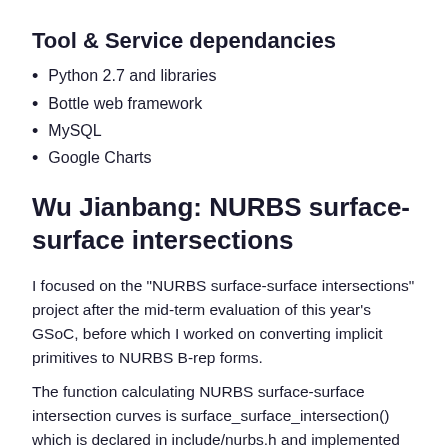Tool & Service dependancies
Python 2.7 and libraries
Bottle web framework
MySQL
Google Charts
Wu Jianbang: NURBS surface-surface intersections
I focused on the "NURBS surface-surface intersections" project after the mid-term evaluation of this year's GSoC, before which I worked on converting implicit primitives to NURBS B-rep forms.
The function calculating NURBS surface-surface intersection curves is surface_surface_intersection() which is declared in include/nurbs.h and implemented in src/libnurbs/opennurbs_ext.cpp. It outputs intersection curves in 3d space and in both surfaces' UV parameter